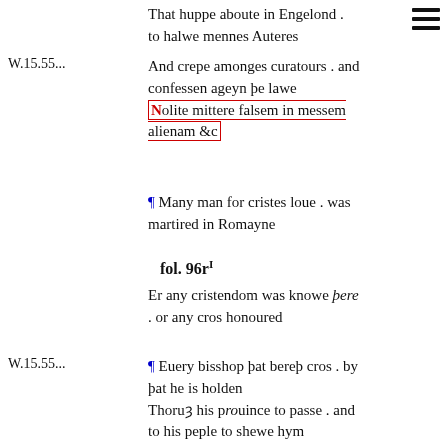That huppe aboute in Engelond . to halwe mennes Auteres
W.15.55...
And crepe amonges curatours . and confessen ageyn þe lawe
Nolite mittere falsem in messem alienam &c
¶ Many man for cristes loue . was martired in Romayne
fol. 96rI
Er any cristendom was knowe þere . or any cros honoured
W.15.55...
¶ Euery bisshop þat bereþ cros . by þat he is holden Thoruȝ his prouince to passe . and to his peple to shewe hym